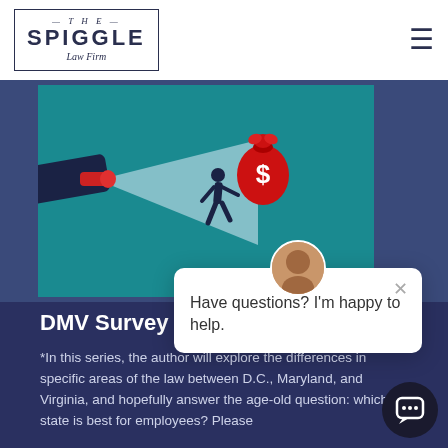THE SPIGGLE Law Firm
[Figure (illustration): Illustration on teal background showing a gloved hand holding a flashlight/spotlight illuminating a silhouetted figure running away carrying a large red money bag with a dollar sign]
DMV Survey Seri...
*In this series, the author will explore the differences in specific areas of the law between D.C., Maryland, and Virginia, and hopefully answer the age-old question: which state is best for employees? Please